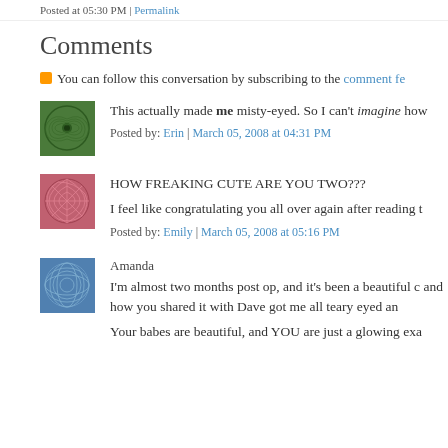Posted at 05:30 PM | Permalink
Comments
You can follow this conversation by subscribing to the comment fe
This actually made me misty-eyed. So I can't imagine how
Posted by: Erin | March 05, 2008 at 04:31 PM
HOW FREAKING CUTE ARE YOU TWO???
I feel like congratulating you all over again after reading t
Posted by: Emily | March 05, 2008 at 05:16 PM
Amanda
I'm almost two months post op, and it's been a beautiful c and how you shared it with Dave got me all teary eyed an
Your babes are beautiful, and YOU are just a glowing exa